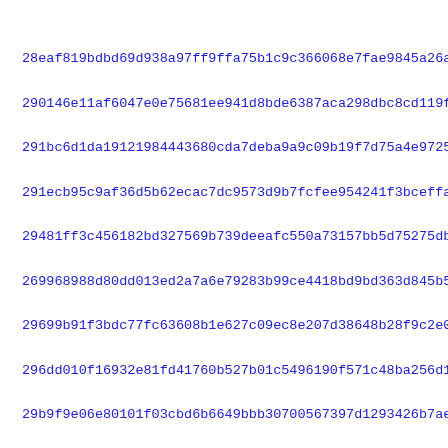28eaf819bdbd69d938a97ff9ffa75b1c9c366068e7fae9845a26a97b31a99
290146e11af6047e0e75681ee941d8bde6387aca298dbc8cd119f9505b061
291bc6d1da19121984443680cda7deba9a9c09b19f7d75a4e9725164a7a4a3
291ecb95c9af36d5b62ecac7dc9573d9b7fcfee954241f3bceffa8a3a54a4
29481ff3c456182bd327569b739deeafc550a73157bb5d75275dbaf728f84
269968988d80dd013ed2a7a6e79283b99ce4418bd9bd363d845b5591bdcc6
29699b91f3bdc77fc63608b1e627c09ec8e207d38648b28f9c2e06f052725
296dd010f16932e81fd41760b527b01c5496190f571c48ba256d1adb004b5
29b9f9e06e80101f03cbd6b6649bbb30700567397d1293426b7ae7b93f7b6
29cca96683f335e613656e91b66fdcd369cf195b478b63ee0327b0518226b